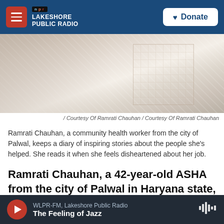NPR Lakeshore Public Radio | Donate
[Figure (photo): Close-up photo of a woman wearing a white/cream patterned dupatta and embroidered outfit]
/ Courtesy Of Ramrati Chauhan / Courtesy Of Ramrati Chauhan
Ramrati Chauhan, a community health worker from the city of Palwal, keeps a diary of inspiring stories about the people she's helped. She reads it when she feels disheartened about her job.
Ramrati Chauhan, a 42-year-old ASHA from the city of Palwal in Haryana state, says she gets very attached to the pregnant women she assists.
WLPR-FM, Lakeshore Public Radio | The Feeling of Jazz